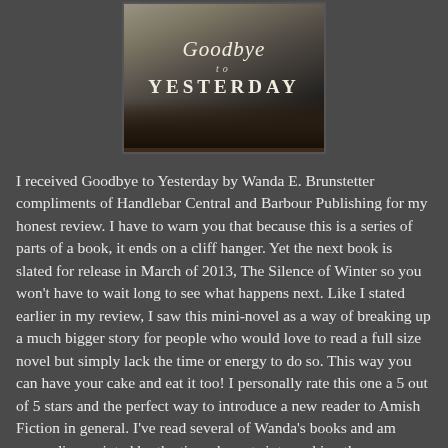[Figure (illustration): Book cover for 'Goodbye to Yesterday' by Wanda E. Brunstetter, showing Amish figures in dark tones with decorative title text]
I received Goodbye to Yesterday by Wanda E. Brunstetter compliments of Handlebar Central and Barbour Publishing for my honest review. I have to warn you that because this is a series of parts of a book, it ends on a cliff hanger. Yet the next book is slated for release in March of 2013, The Silence of Winter so you won't have to wait long to see what happens next. Like I stated earlier in my review, I saw this mini-novel as a way of breaking up a much bigger story for people who would love to read a full size novel but simply lack the time or energy to do so. This way you can have your cake and eat it too! I personally rate this one a 5 out of 5 stars and the perfect way to introduce a new reader to Amish Fiction in general. I've read several of Wanda's books and am never disappointed by the time she puts into making the